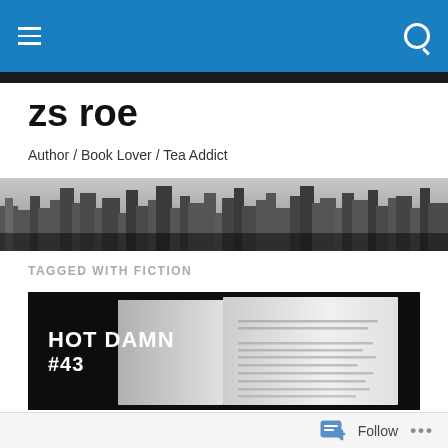zs roe — navigation bar with hamburger menu and search icon
zs roe
Author / Book Lover / Tea Addict
[Figure (photo): Black and white city skyline banner image]
TAGGED WITH FICTION
[Figure (photo): Dark photo of open book with 'HOT DAMN #43' text visible on left side and open pages with small text on right side]
Follow  •••